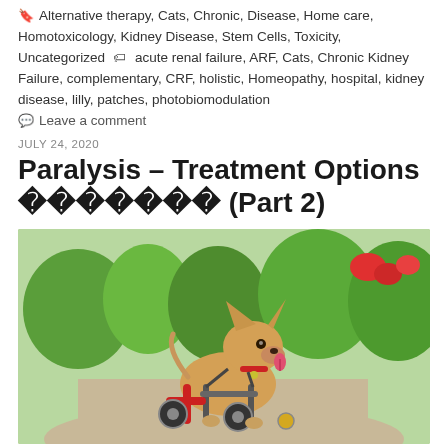Alternative therapy, Cats, Chronic, Disease, Home care, Homotoxicology, Kidney Disease, Stem Cells, Toxicity, Uncategorized 🏷 acute renal failure, ARF, Cats, Chronic Kidney Failure, complementary, CRF, holistic, Homeopathy, hospital, kidney disease, lilly, patches, photobiomodulation
Leave a comment
JULY 24, 2020
Paralysis – Treatment Options ������� (Part 2)
[Figure (photo): A small Chihuahua dog in a wheelchair/mobility cart on a path in a park with green trees and red flowers in background, tongue out, looking alert.]